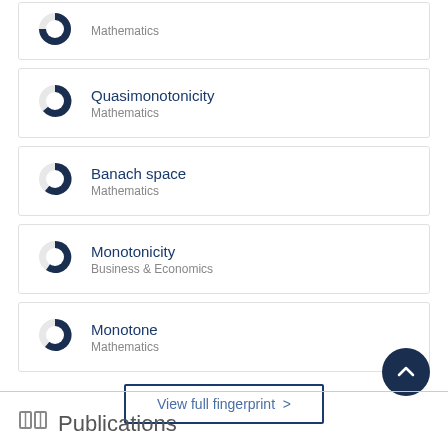Mathematics (partial, top)
Quasimonotonicity — Mathematics
Banach space — Mathematics
Monotonicity — Business & Economics
Monotone — Mathematics
View full fingerprint >
Publications